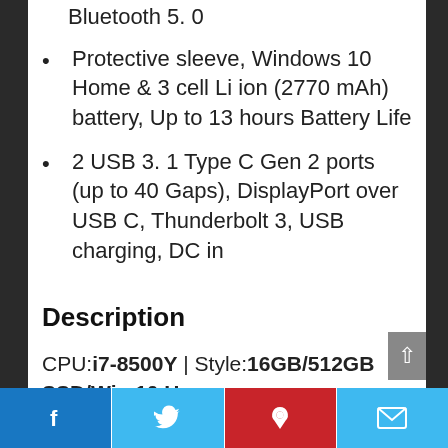Bluetooth 5. 0
Protective sleeve, Windows 10 Home & 3 cell Li ion (2770 mAh) battery, Up to 13 hours Battery Life
2 USB 3. 1 Type C Gen 2 ports (up to 40 Gaps), DisplayPort over USB C, Thunderbolt 3, USB charging, DC in
Description
CPU:i7-8500Y | Style:16GB/512GB SSD/Win 10 Home